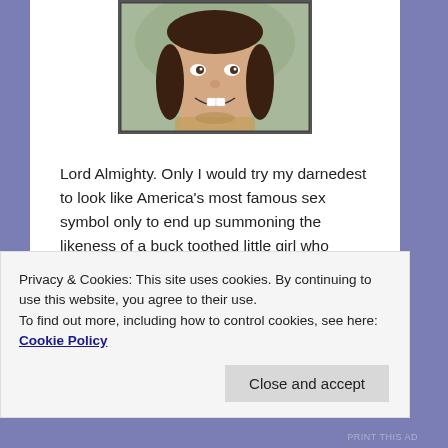[Figure (photo): Photo of a smiling girl with braids, partially visible at top of page]
Lord Almighty. Only I would try my darnedest to look like America's most famous sex symbol only to end up summoning the likeness of a buck toothed little girl who spent the best part of her day wearing pantaloons and sitting by a creek holding a fishing pole.
Needless to say, I pretty much gave up at that point. I mean, for crying out loud, if draping myself in cotton candy colored felt didn't work, then what on Earth would?
Privacy & Cookies: This site uses cookies. By continuing to use this website, you agree to their use.
To find out more, including how to control cookies, see here: Cookie Policy